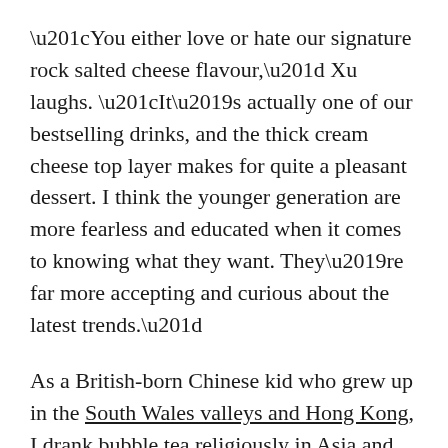“You either love or hate our signature rock salted cheese flavour,” Xu laughs. “It’s actually one of our bestselling drinks, and the thick cream cheese top layer makes for quite a pleasant dessert. I think the younger generation are more fearless and educated when it comes to knowing what they want. They’re far more accepting and curious about the latest trends.”
As a British-born Chinese kid who grew up in the South Wales valleys and Hong Kong, I drank bubble tea religiously in Asia and would smuggle tapioca pearls back in my suitcase to recreate the drink at home, because there just weren’t any stalls around. Now, they’re ubiquitous